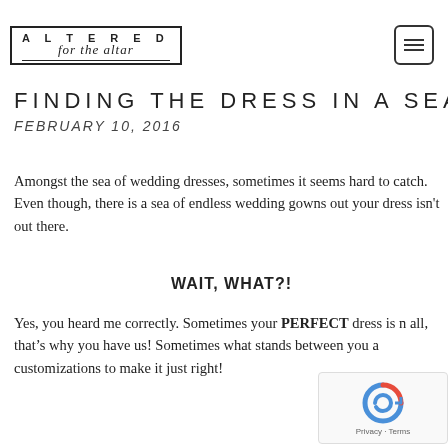[Figure (logo): Altered for the Altar logo with rectangular border, serif uppercase ALTERED text and script 'for the altar' below]
FINDING THE DRESS IN A SEA OF
FEBRUARY 10, 2016
Amongst the sea of wedding dresses, sometimes it seems hard to catch. Even though, there is a sea of endless wedding gowns out your dress isn't out there.
WAIT, WHAT?!
Yes, you heard me correctly. Sometimes your PERFECT dress is not all, that's why you have us! Sometimes what stands between you and customizations to make it just right!